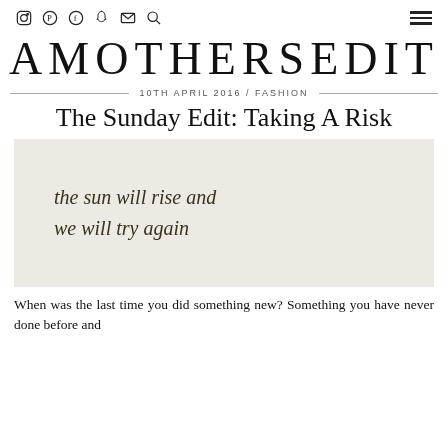Social icons: Instagram, Pinterest, Facebook, Snapchat, Email, Search | Hamburger menu
AMOTHERSEDIT
10TH APRIL 2016 / FASHION
The Sunday Edit: Taking A Risk
[Figure (illustration): Beige/cream background image with handwritten-style cursive text reading: 'the sun will rise and we will try again']
When was the last time you did something new? Something you have never done before and